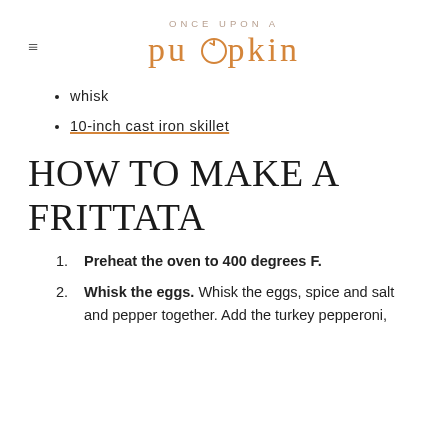ONCE UPON A pumpkin
whisk
10-inch cast iron skillet
HOW TO MAKE A FRITTATA
1. Preheat the oven to 400 degrees F.
2. Whisk the eggs. Whisk the eggs, spice and salt and pepper together. Add the turkey pepperoni,